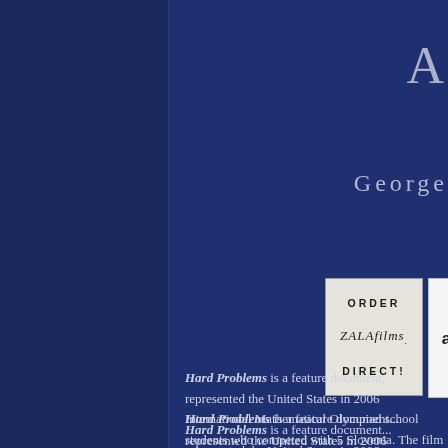A
George
[Figure (logo): ORDER ZALA films DIRECT! button - a rectangular button with dark border on light gray background]
[Figure (logo): Amazon logo button - partial view showing 'am' with orange swoosh]
Hard Problems is a feature document... represented the United States in 2006 International Mathematical Olympiad school students who competed with 5 Slovenia. The film shows the dedicat students, the rigorous preparation the get out of solving challenging proble competitions at the highest level.
Although American students on the w mathematics, American math Olympi. While in international ...